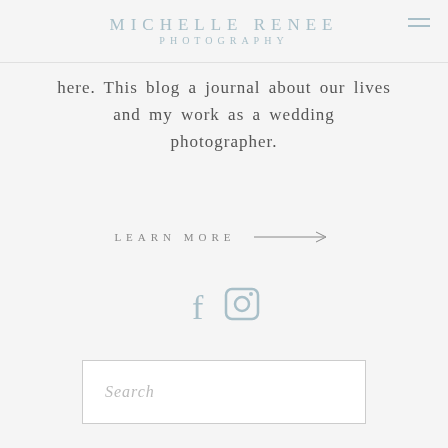MICHELLE RENEE PHOTOGRAPHY
here. This blog a journal about our lives and my work as a wedding photographer.
LEARN MORE →
[Figure (illustration): Facebook and Instagram social media icons in muted blue-grey color]
Search